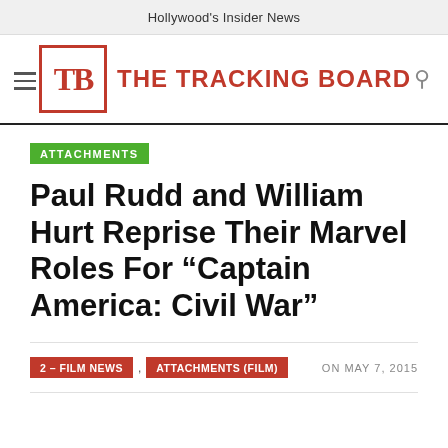Hollywood's Insider News
[Figure (logo): The Tracking Board logo: TB in red box followed by THE TRACKING BOARD in red text]
ATTACHMENTS
Paul Rudd and William Hurt Reprise Their Marvel Roles For “Captain America: Civil War”
2 – FILM NEWS , ATTACHMENTS (FILM) ON MAY 7, 2015